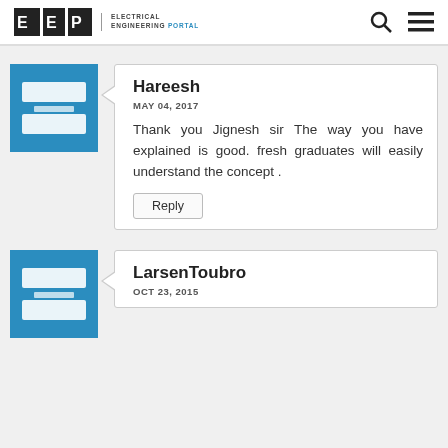EEP | ELECTRICAL ENGINEERING PORTAL
Hareesh
MAY 04, 2017
Thank you Jignesh sir The way you have explained is good. fresh graduates will easily understand the concept .
Reply
LarsenToubro
OCT 23, 2015